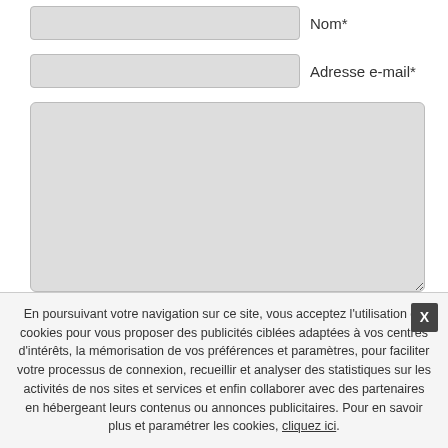[Figure (screenshot): A web form with two text input fields (Nom*, Adresse e-mail*), a large textarea, and a blue Publier submit button. Below the form is a horizontal rule and a 'Retour au début' link. A cookie consent banner appears at the bottom of the page with a close (X) button.]
Nom*
Adresse e-mail*
Publier
Retour au début
En poursuivant votre navigation sur ce site, vous acceptez l'utilisation de cookies pour vous proposer des publicités ciblées adaptées à vos centres d'intérêts, la mémorisation de vos préférences et paramètres, pour faciliter votre processus de connexion, recueillir et analyser des statistiques sur les activités de nos sites et services et enfin collaborer avec des partenaires en hébergeant leurs contenus ou annonces publicitaires. Pour en savoir plus et paramétrer les cookies, cliquez ici.